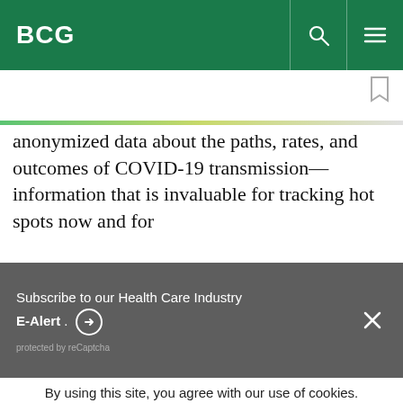BCG
anonymized data about the paths, rates, and outcomes of COVID-19 transmission—information that is invaluable for tracking hot spots now and for
Subscribe to our Health Care Industry E-Alert. protected by reCaptcha
By using this site, you agree with our use of cookies. I consent to cookies Want to know more? Read our Cookie Policy